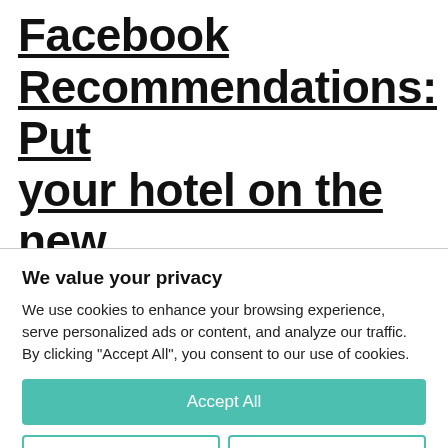Facebook Recommendations: Put your hotel on the new dynamic map.
We value your privacy
We use cookies to enhance your browsing experience, serve personalized ads or content, and analyze our traffic. By clicking "Accept All", you consent to our use of cookies.
Accept All
Customize
Reject All